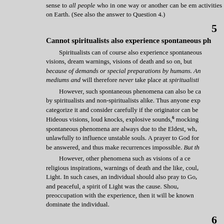sense to all people who in one way or another can be em... activities on Earth. (See also the answer to Question 4.)
5
Cannot spiritualists also experience spontaneous ph...
Spiritualists can of course also experience spontaneous... visions, dream warnings, visions of death and so on, but... because of demands or special preparations by humans. An... mediums and will therefore never take place at spiritualisti...
However, such spontaneous phenomena can also be ca... by spiritualists and non-spiritualists alike. Thus anyone exp... categorize it and consider carefully if the originator can be... Hideous visions, loud knocks, explosive sounds,6 mocking... spontaneous phenomena are always due to the Eldest, who... unlawfully to influence unstable souls. A prayer to God for... be answered, and thus make recurrences impossible. But th...
However, other phenomena such as visions of a ce... religious inspirations, warnings of death and the like, coul... Light. In such cases, an individual should also pray to Go... and peaceful, a spirit of Light was the cause. Shou... preoccupation with the experience, then it will be known... dominate the individual.
6
Is the statement (Toward the Light, pages 236 and 2... Earth of the Earth-bound spirits, more than an unp...
The statement is absolutely true.
Stern warnings are given (pages 250 and 253) to mediu...